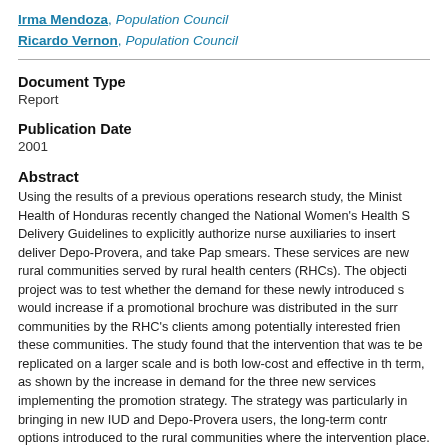Irma Mendoza, Population Council
Ricardo Vernon, Population Council
Document Type
Report
Publication Date
2001
Abstract
Using the results of a previous operations research study, the Ministry of Health of Honduras recently changed the National Women's Health Service Delivery Guidelines to explicitly authorize nurse auxiliaries to insert IUDs, deliver Depo-Provera, and take Pap smears. These services are new to the rural communities served by rural health centers (RHCs). The objective of this project was to test whether the demand for these newly introduced services would increase if a promotional brochure was distributed in the surrounding communities by the RHC's clients among potentially interested friends in these communities. The study found that the intervention that was tested can be replicated on a larger scale and is both low-cost and effective in the short-term, as shown by the increase in demand for the three new services after implementing the promotion strategy. The strategy was particularly successful in bringing in new IUD and Depo-Provera users, the long-term contraceptive options introduced to the rural communities where the intervention took place.